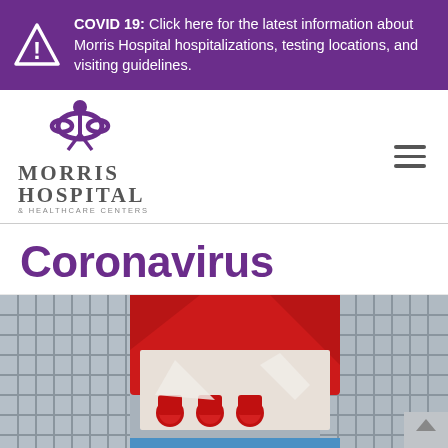COVID 19: Click here for the latest information about Morris Hospital hospitalizations, testing locations, and visiting guidelines.
[Figure (logo): Morris Hospital & Healthcare Centers logo with stylized person/chain figure in purple above the text MORRIS HOSPITAL & HEALTHCARE CENTERS]
Coronavirus
[Figure (photo): Close-up photograph of a red medical test kit box opened on a wire mesh tray, showing red-capped sample vials inside]